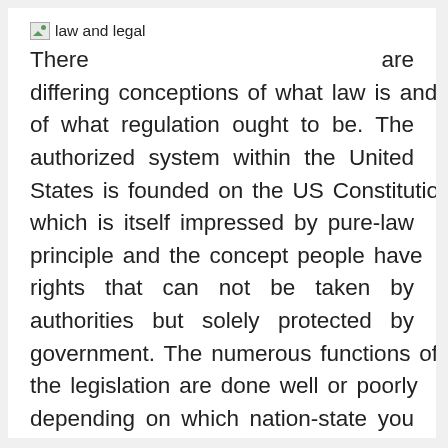law and legal
There are differing conceptions of what law is and of what regulation ought to be. The authorized system within the United States is founded on the US Constitution, which is itself impressed by pure-law principle and the concept people have rights that can not be taken by authorities but solely protected by government. The numerous functions of the legislation are done well or poorly depending on which nation-state you have a look at. Some do very properly in terms of keeping order, while others do a